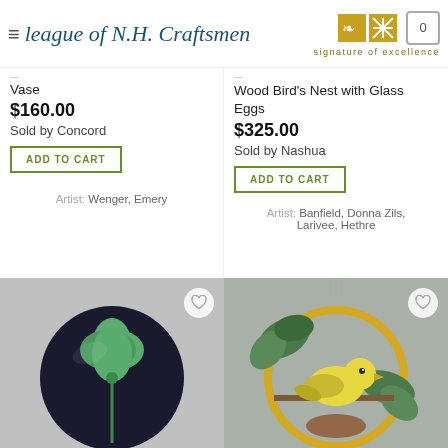[Figure (logo): League of N.H. Craftsmen logo with signature of excellence text and decorative icons, plus shopping cart icon showing 0]
Vase
$160.00
Sold by Concord
ADD TO CART
Artist: Wenger, Emery
Wood Bird's Nest with Glass Eggs
$325.00
Sold by Nashua
ADD TO CART
Artist: Banfield, Donna Zils, Larivee, Hethre
[Figure (photo): Dark round glass paperweight with green four-leaf clover design inside]
[Figure (photo): Stained glass suncatcher with yellow bird perched on a circular golden ring with green leaf branches]